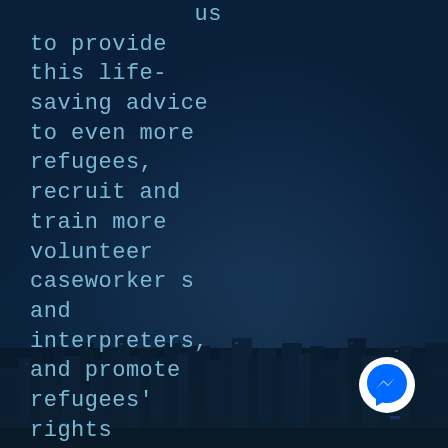[Figure (photo): Dark blue nighttime cityscape background showing a city skyline at night with buildings and a dark blue sky]
us to provide this life-saving advice to even more refugees, recruit and train more volunteer caseworkers and interpreters, and promote refugees' rights